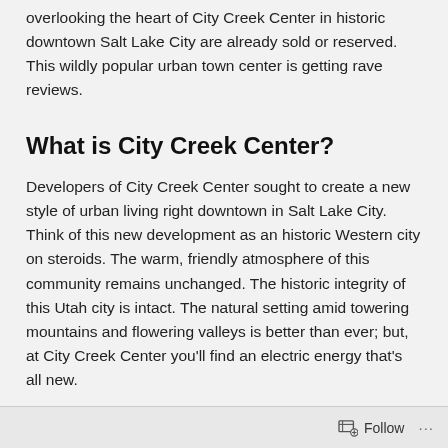overlooking the heart of City Creek Center in historic downtown Salt Lake City are already sold or reserved. This wildly popular urban town center is getting rave reviews.
What is City Creek Center?
Developers of City Creek Center sought to create a new style of urban living right downtown in Salt Lake City. Think of this new development as an historic Western city on steroids. The warm, friendly atmosphere of this community remains unchanged. The historic integrity of this Utah city is intact. The natural setting amid towering mountains and flowering valleys is better than ever; but, at City Creek Center you'll find an electric energy that's all new.
Follow